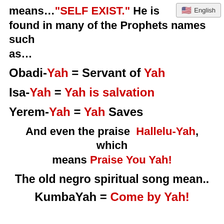means…"SELF EXIST." He is found in many of the Prophets names such as…
[Figure (screenshot): English language selector UI overlay with flag icon]
Obadi-Yah = Servant of Yah
Isa-Yah = Yah is salvation
Yerem-Yah = Yah Saves
And even the praise Hallelu-Yah, which means Praise You Yah!
The old negro spiritual song mean..
KumbaYah = Come by Yah!